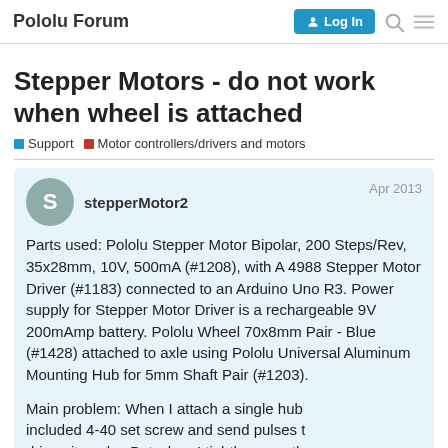Pololu Forum | Log In
Stepper Motors - do not work when wheel is attached
Support  Motor controllers/drivers and motors
stepperMotor2  Apr 2013
Parts used: Pololu Stepper Motor Bipolar, 200 Steps/Rev, 35x28mm, 10V, 500mA (#1208), with A 4988 Stepper Motor Driver (#1183) connected to an Arduino Uno R3. Power supply for Stepper Motor Driver is a rechargeable 9V 200mAmp battery. Pololu Wheel 70x8mm Pair - Blue (#1428) attached to axle using Pololu Universal Aluminum Mounting Hub for 5mm Shaft Pair (#1203).
Main problem: When I attach a single hub included 4-40 set screw and send pulses to driver, it works. But when I tightly screw th
1 / 6